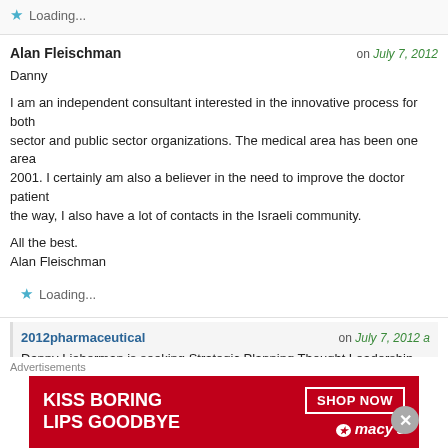Loading...
Alan Fleischman
Danny

I am an independent consultant interested in the innovative process for both sector and public sector organizations. The medical area has been one area 2001. I certainly am also a believer in the need to improve the doctor patient the way, I also have a lot of contacts in the Israeli community.

All the best.
Alan Fleischman
Loading...
2012pharmaceutical
Danny Lieberman is seeking Strategic Planning Thought Leadership for h
Advertisements
[Figure (other): Macy's advertisement banner: KISS BORING LIPS GOODBYE with SHOP NOW button and Macy's logo on red background]